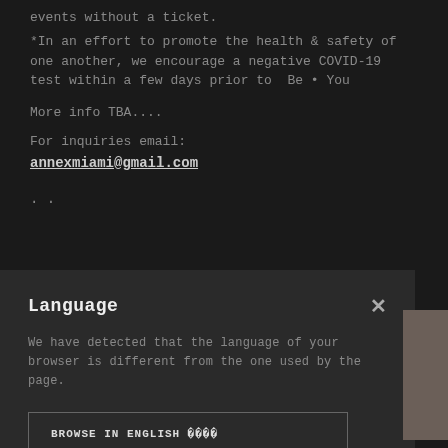*In an effort to promote the health & safety of one another, we encourage a negative COVID-19 test within a few days prior to Be • You
More info TBA....
For inquiries email: annexmiami@gmail.com
. .
[Figure (screenshot): Language selection modal dialog with title 'Language', close button X, body text 'We have detected that the language of your browser is different from the one used by the page.', and a button 'BROWSE IN ENGLISH']
Above The Shoulders   Jay York   Radar